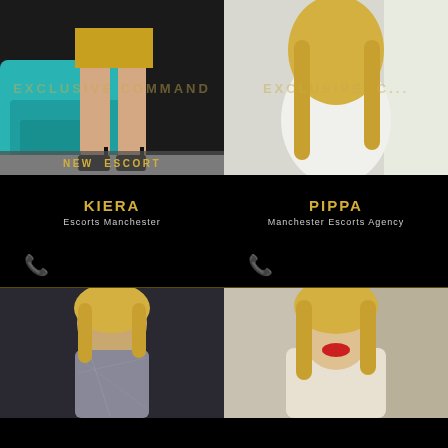[Figure (photo): Woman in gold dress seated on teal chair, legs visible with black high heels. Watermark text: EXCLUSIVE COMMAND. Banner: NEW ESCORT]
[Figure (photo): Blonde woman in white tight dress, back turned. Watermark text: EXCLUSIVE C...]
KIERA
Escorts Manchester
PIPPA
Manchester Escorts Agency
Phone icon
Phone icon
[Figure (photo): Blonde woman in sparkly grey long-sleeve outfit]
[Figure (photo): Blonde woman in cream/white fur jacket with red lipstick]